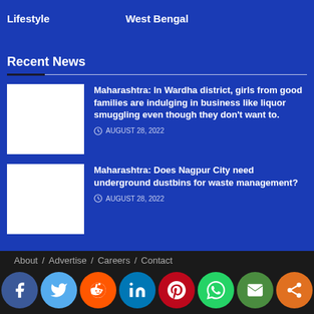Lifestyle   West Bengal
Recent News
Maharashtra: In Wardha district, girls from good families are indulging in business like liquor smuggling even though they don't want to.
AUGUST 28, 2022
Maharashtra: Does Nagpur City need underground dustbins for waste management?
AUGUST 28, 2022
About / Advertise / Careers / Contact